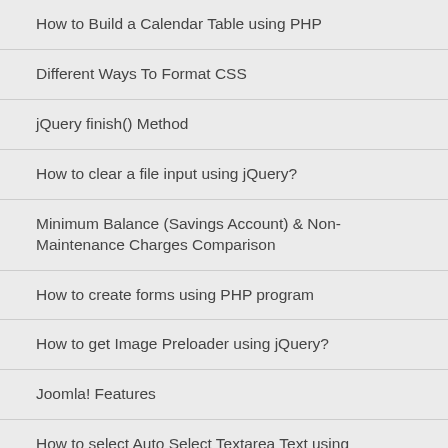How to Build a Calendar Table using PHP
Different Ways To Format CSS
jQuery finish() Method
How to clear a file input using jQuery?
Minimum Balance (Savings Account) & Non-Maintenance Charges Comparison
How to create forms using PHP program
How to get Image Preloader using jQuery?
Joomla! Features
How to select Auto Select Textarea Text using javascipt?